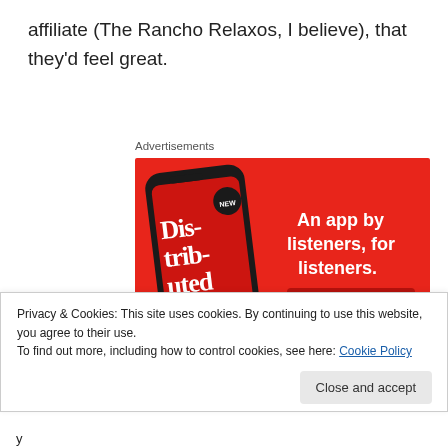affiliate (The Rancho Relaxos, I believe), that they'd feel great.
Advertisements
[Figure (illustration): Advertisement banner for a podcast app with a red background. Shows a smartphone displaying a podcast called 'Dis-trib-uted' and the text 'An app by listeners, for listeners.' with a 'Download now' button.]
Privacy & Cookies: This site uses cookies. By continuing to use this website, you agree to their use.
To find out more, including how to control cookies, see here: Cookie Policy
Close and accept